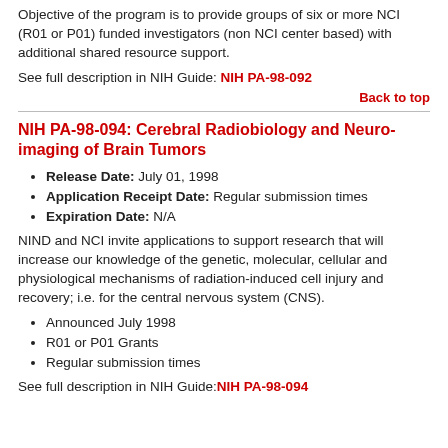Objective of the program is to provide groups of six or more NCI (R01 or P01) funded investigators (non NCI center based) with additional shared resource support.
See full description in NIH Guide: NIH PA-98-092
Back to top
NIH PA-98-094: Cerebral Radiobiology and Neuro-imaging of Brain Tumors
Release Date: July 01, 1998
Application Receipt Date: Regular submission times
Expiration Date: N/A
NIND and NCI invite applications to support research that will increase our knowledge of the genetic, molecular, cellular and physiological mechanisms of radiation-induced cell injury and recovery; i.e. for the central nervous system (CNS).
Announced July 1998
R01 or P01 Grants
Regular submission times
See full description in NIH Guide: NIH PA-98-094